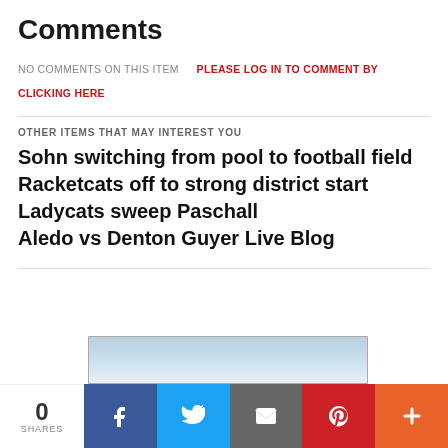Comments
NO COMMENTS ON THIS ITEM   PLEASE LOG IN TO COMMENT BY CLICKING HERE
OTHER ITEMS THAT MAY INTEREST YOU
Sohn switching from pool to football field
Racketcats off to strong district start
Ladycats sweep Paschall
Aledo vs Denton Guyer Live Blog
[Figure (photo): Partial image of a building/sky visible at bottom]
0 SHARES | Facebook | Twitter | Email | Pinterest | More